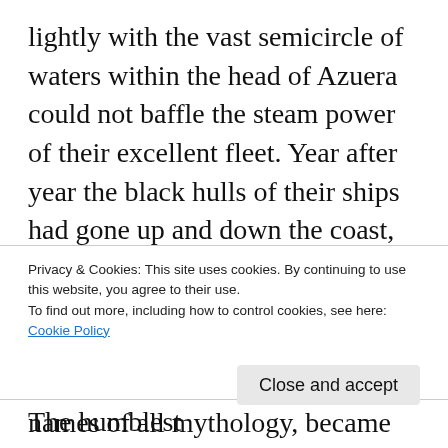lightly with the vast semicircle of waters within the head of Azuera could not baffle the steam power of their excellent fleet. Year after year the black hulls of their ships had gone up and down the coast, in and out, past Azuera, past the Isabels, past Punta Mala—disregarding everything but the tyranny of time. Their names, the names of all mythology, became the household words of a coast that had never been ruled by the gods of Olympus. The Juno was known only for her comfortable cabins
Privacy & Cookies: This site uses cookies. By continuing to use this website, you agree to their use.
To find out more, including how to control cookies, see here:
Cookie Policy
Close and accept
avoided by coastwise passengers. The humblest